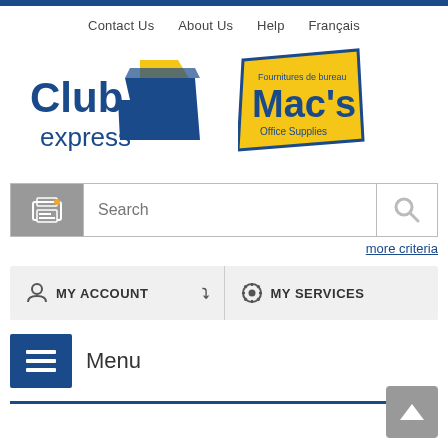Contact Us   About Us   Help   Français
[Figure (logo): Club Express logo with blue text and yellow/blue folder icon]
[Figure (logo): Mac's Office Supplies logo with yellow banner and blue text]
[Figure (screenshot): Search bar with printer icon on left and magnifying glass on right, with 'Search' placeholder text]
more criteria
MY ACCOUNT   MY SERVICES
Menu